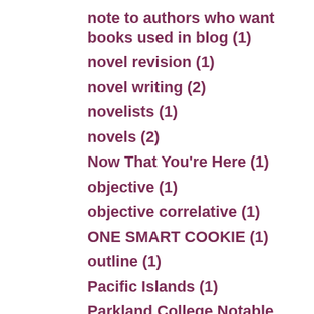note to authors who want books used in blog (1)
novel revision (1)
novel writing (2)
novelists (1)
novels (2)
Now That You're Here (1)
objective (1)
objective correlative (1)
ONE SMART COOKIE (1)
outline (1)
Pacific Islands (1)
Parkland College Notable Alumni (1)
Patti Kurtz (1)
Pearl Harbor (1)
Pearl Harbor attack (1)